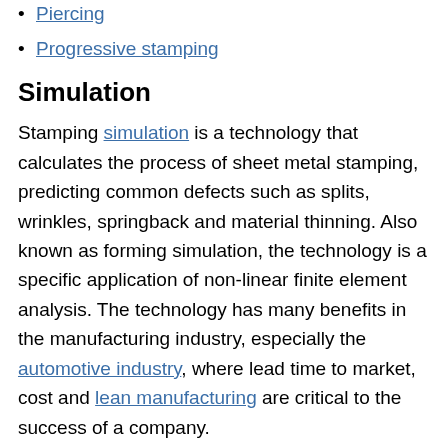Piercing
Progressive stamping
Simulation
Stamping simulation is a technology that calculates the process of sheet metal stamping, predicting common defects such as splits, wrinkles, springback and material thinning. Also known as forming simulation, the technology is a specific application of non-linear finite element analysis. The technology has many benefits in the manufacturing industry, especially the automotive industry, where lead time to market, cost and lean manufacturing are critical to the success of a company.